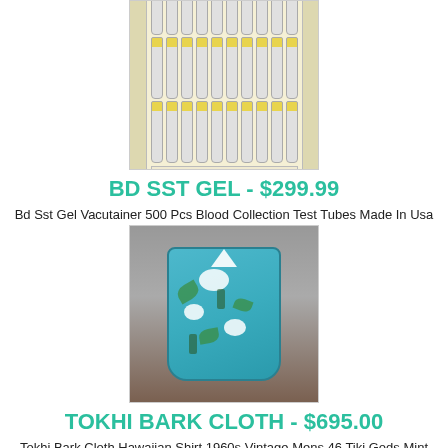[Figure (photo): BD SST Gel Vacutainer 500 pcs blood collection test tubes in tray packaging]
BD SST GEL - $299.99
Bd Sst Gel Vacutainer 500 Pcs Blood Collection Test Tubes Made In Usa Free Ship
[Figure (photo): Tokhi Bark Cloth Hawaiian Shirt 1960s Vintage Mens 46 Tiki Gods Mint, teal/green floral Hawaiian shirt on mannequin]
TOKHI BARK CLOTH - $695.00
Tokhi Bark Cloth Hawaiian Shirt 1960s Vintage Mens 46 Tiki Gods Mint